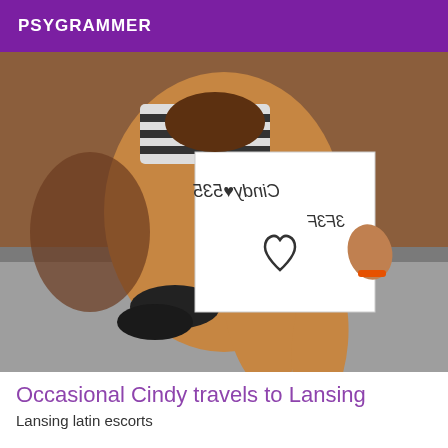PSYGRAMMER
[Figure (photo): Person sitting on a bed holding a white paper sign with mirrored/reversed handwritten text and a heart drawing]
Occasional Cindy travels to Lansing
Lansing latin escorts